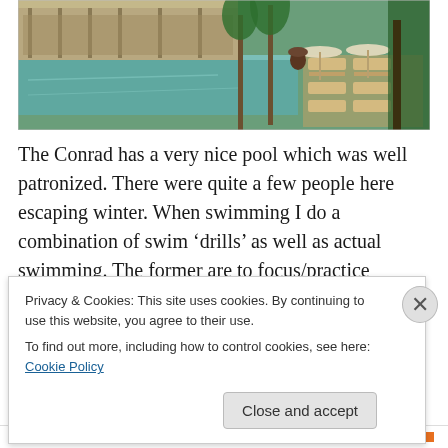[Figure (photo): Outdoor resort swimming pool with lounge chairs, umbrellas, palm trees, and a covered cabana/bar area in the background.]
The Conrad has a very nice pool which was well patronized. There were quite a few people here escaping winter. When swimming I do a combination of swim ‘drills’ as well as actual swimming. The former are to focus/practice technique and this is the most important part of the training: swimming is all about technique. I use
Privacy & Cookies: This site uses cookies. By continuing to use this website, you agree to their use.
To find out more, including how to control cookies, see here: Cookie Policy
Close and accept